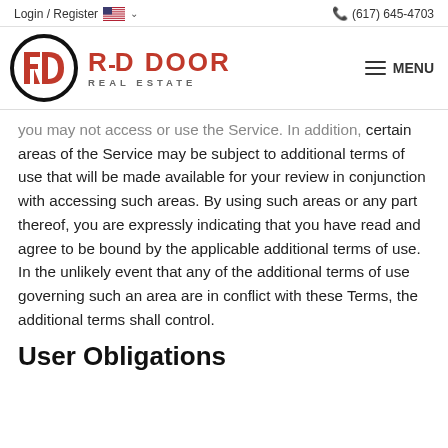Login / Register  🇺🇸 ∨   📞 (617) 645-4703
[Figure (logo): Red Door Real Estate logo — circular RD emblem in red and black with company name in red and gray]
you may not access or use the Service. In addition, certain areas of the Service may be subject to additional terms of use that will be made available for your review in conjunction with accessing such areas. By using such areas or any part thereof, you are expressly indicating that you have read and agree to be bound by the applicable additional terms of use. In the unlikely event that any of the additional terms of use governing such an area are in conflict with these Terms, the additional terms shall control.
User Obligations